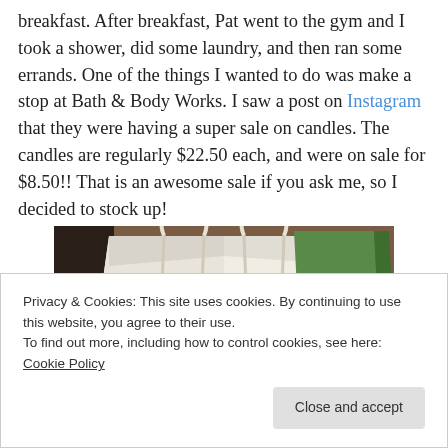breakfast. After breakfast, Pat went to the gym and I took a shower, did some laundry, and then ran some errands. One of the things I wanted to do was make a stop at Bath & Body Works. I saw a post on Instagram that they were having a super sale on candles. The candles are regularly $22.50 each, and were on sale for $8.50!! That is an awesome sale if you ask me, so I decided to stock up!
[Figure (photo): Photo of Bath & Body Works shopping bags — a large white bag with rope handles and a green and red/pink bag visible behind it, sitting on a wooden surface.]
Privacy & Cookies: This site uses cookies. By continuing to use this website, you agree to their use.
To find out more, including how to control cookies, see here: Cookie Policy